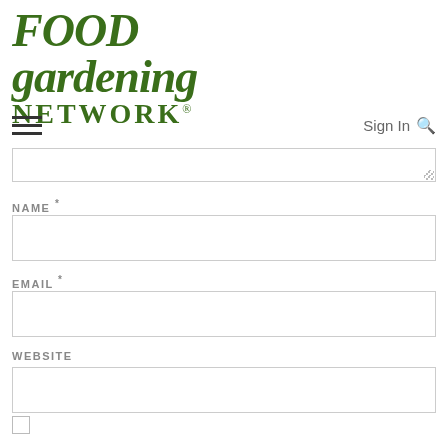[Figure (logo): Food Gardening Network logo in dark green bold serif italic text]
Sign In 🔍
NAME *
EMAIL *
WEBSITE